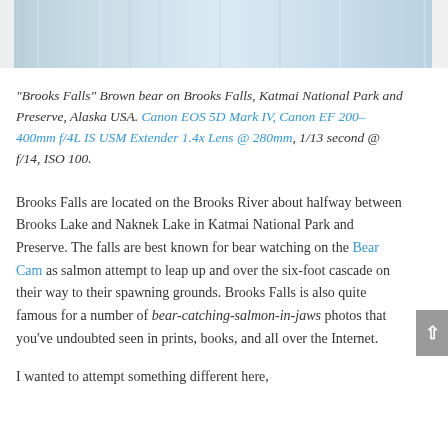[Figure (photo): Partial view of Brooks Falls waterfall, showing blue-white water cascading. The top portion of the image is cropped.]
"Brooks Falls" Brown bear on Brooks Falls, Katmai National Park and Preserve, Alaska USA. Canon EOS 5D Mark IV, Canon EF 200-400mm f/4L IS USM Extender 1.4x Lens @ 280mm, 1/13 second @ f/14, ISO 100.
Brooks Falls are located on the Brooks River about halfway between Brooks Lake and Naknek Lake in Katmai National Park and Preserve. The falls are best known for bear watching on the Bear Cam as salmon attempt to leap up and over the six-foot cascade on their way to their spawning grounds. Brooks Falls is also quite famous for a number of bear-catching-salmon-in-jaws photos that you've undoubted seen in prints, books, and all over the Internet.
I wanted to attempt something different here,